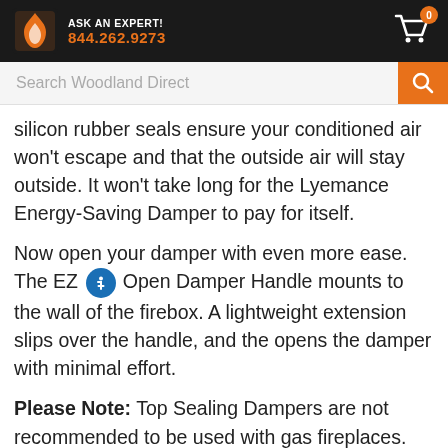ASK AN EXPERT! 844.262.9273
silicon rubber seals ensure your conditioned air won't escape and that the outside air will stay outside. It won't take long for the Lyemance Energy-Saving Damper to pay for itself.
Now open your damper with even more ease. The EZ Open Damper Handle mounts to the wall of the firebox. A lightweight extension slips over the handle, and the opens the damper with minimal effort.
Please Note: Top Sealing Dampers are not recommended to be used with gas fireplaces. Snow and Ice may keep the Lyemance Damper from working properly in the winter time.